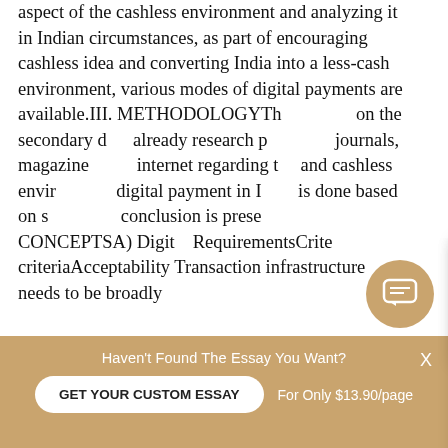aspect of the cashless environment and analyzing it in Indian circumstances, as part of encouraging cashless idea and converting India into a less-cash environment, various modes of digital payments are available.III. METHODOLOGYThe study is based on the secondary data. The information already research published related books, journals, magazines, and websites on the internet regarding the digital payment and cashless environment. The study of digital payment in India and its related issues is done based on secondary data. The conclusion is presented. KEY CONCEPTSA) Digital Payment – Requirements Criteria The criteria Acceptability Transaction infrastructure needs to be broadly
[Figure (screenshot): Chat popup with avatar of a person named Piter with tan/golden header, asking 'Would you like to get a custom essay? How about receiving a customized one?' with a 'Check it out' link]
[Figure (infographic): Floating chat button - golden circle with chat/message icon]
Haven't Found The Essay You Want?
GET YOUR CUSTOM ESSAY
For Only $13.90/page